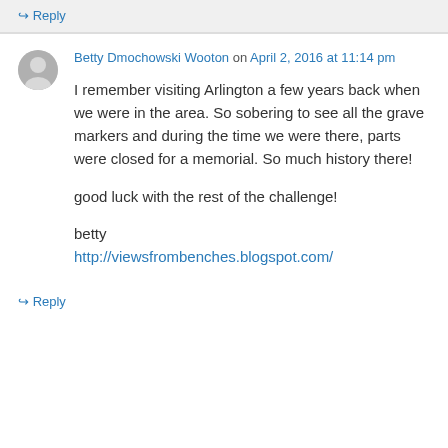↪ Reply
Betty Dmochowski Wooton on April 2, 2016 at 11:14 pm
I remember visiting Arlington a few years back when we were in the area. So sobering to see all the grave markers and during the time we were there, parts were closed for a memorial. So much history there!

good luck with the rest of the challenge!

betty
http://viewsfrombenches.blogspot.com/
↪ Reply